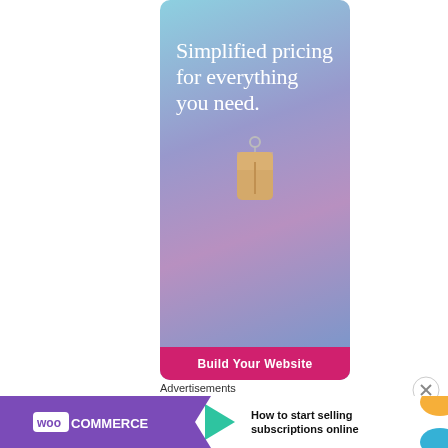[Figure (illustration): Advertisement banner with blue-to-purple gradient background showing 'Simplified pricing for everything you need.' text with a price tag illustration and a 'Build Your Website' CTA button in pink]
Advertisements
[Figure (illustration): WooCommerce advertisement banner showing logo on purple background with green arrow and text 'How to start selling subscriptions online' with orange and blue decorative elements]